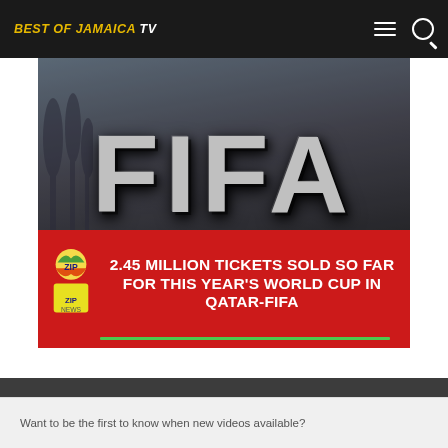BEST OF JAMAICA TV
[Figure (screenshot): FIFA sign building photograph with silver 3D letters on dark wall, trees visible on left side, with red banner overlay reading '2.45 MILLION TICKETS SOLD SO FAR FOR THIS YEAR'S WORLD CUP IN QATAR-FIFA' with a green underline and colorful logo icon on left side of banner]
✉ Email Subscribe
Want to be the first to know when new videos available?